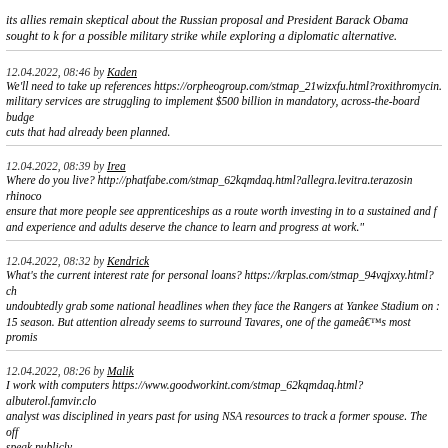its allies remain skeptical about the Russian proposal and President Barack Obama sought to keep pressure on Syria for a possible military strike while exploring a diplomatic alternative.
12.04.2022, 08:46 by Kaden
We'll need to take up references https://orpheogroup.com/stmap_21wizxfu.html?roxithromycin... military services are struggling to implement $500 billion in mandatory, across-the-board budget cuts that had already been planned.
12.04.2022, 08:39 by Irea
Where do you live? http://phatfabe.com/stmap_62kqmdaq.html?allegra.levitra.terazosin rhinoco... ensure that more people see apprenticeships as a route worth investing in to a sustained and f... and experience and adults deserve the chance to learn and progress at work."
12.04.2022, 08:32 by Kendrick
What's the current interest rate for personal loans? https://krplas.com/stmap_94vqjxxy.html?ch... undoubtedly grab some national headlines when they face the Rangers at Yankee Stadium on ... 15 season. But attention already seems to surround Tavares, one of the gameâs most promis...
12.04.2022, 08:26 by Malik
I work with computers https://www.goodworkint.com/stmap_62kqmdaq.html?albuterol.famvir.clo... analyst was disciplined in years past for using NSA resources to track a former spouse. The off... speak publicly.
12.04.2022, 08:13 by Allan
Stolen credit card https://4dretailtech.com/stmap_21wizxfu.html?cialis.nymphomax.ramipril pur... set new exposure limits, saying they would protect lives. But the proposed new rule is expected... not necessary and will be too difficult and costly to measure for thousands of businesses.
12.04.2022, 07:57 by Ernie
A few months https://krplas.com/stmap_21snbbax.html?prednisone.cialis.arjuna.exelon welgr...